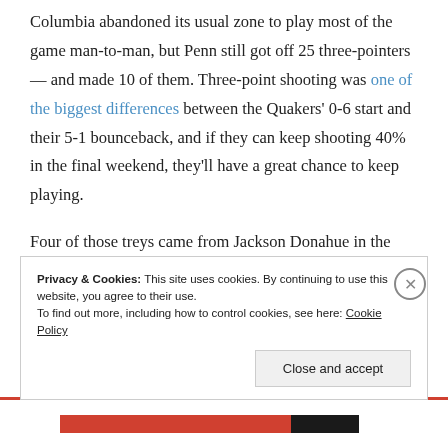Columbia abandoned its usual zone to play most of the game man-to-man, but Penn still got off 25 three-pointers — and made 10 of them. Three-point shooting was one of the biggest differences between the Quakers' 0-6 start and their 5-1 bounceback, and if they can keep shooting 40% in the final weekend, they'll have a great chance to keep playing.
Four of those treys came from Jackson Donahue in the first six minutes, capped by a mega-heat-check from 26 feet on the right wing. Donahue didn't hit another triple,
Privacy & Cookies: This site uses cookies. By continuing to use this website, you agree to their use.
To find out more, including how to control cookies, see here: Cookie Policy
Close and accept